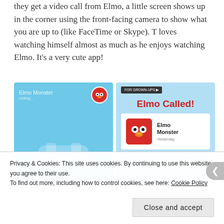they get a video call from Elmo, a little screen shows up in the corner using the front-facing camera to show what you are up to (like FaceTime or Skype). T loves watching himself almost as much as he enjoys watching Elmo. It's a very cute app!
[Figure (screenshot): Two smartphone screenshots side by side. Left: blue screen showing an incoming call from Elmo Monster with Elmo's avatar and a phone icon. Right: blue screen showing 'FOR GROWN-UPS' bar at top, 'Elmo Called!' title in red, and a call card showing Elmo Monster with a red Elmo face illustration and text 'Elmo Monster - Yesterday'.]
Privacy & Cookies: This site uses cookies. By continuing to use this website, you agree to their use.
To find out more, including how to control cookies, see here: Cookie Policy
Close and accept